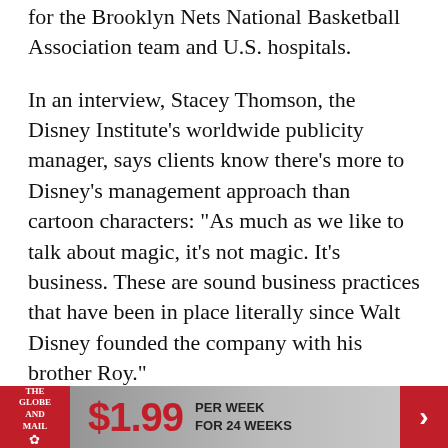for the Brooklyn Nets National Basketball Association team and U.S. hospitals.
In an interview, Stacey Thomson, the Disney Institute's worldwide publicity manager, says clients know there's more to Disney's management approach than cartoon characters: "As much as we like to talk about magic, it's not magic. It's business. These are sound business practices that have been in place literally since Walt Disney founded the company with his brother Roy."
At the seminar in Burlington, a screen displays the company's "chain of excellence," which starts with leadership that motivates staff to go the extra mile to satisfy customers, who in turn come back for
[Figure (infographic): The Globe and Mail subscription advertisement banner: logo on red background, $1.99 price, 'PER WEEK FOR 24 WEEKS', red arrow button on right]